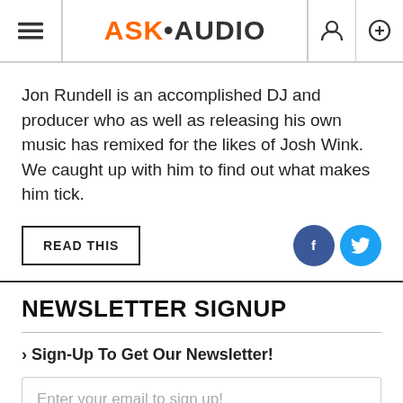ASK•AUDIO
Jon Rundell is an accomplished DJ and producer who as well as releasing his own music has remixed for the likes of Josh Wink. We caught up with him to find out what makes him tick.
READ THIS
NEWSLETTER SIGNUP
> Sign-Up To Get Our Newsletter!
Enter your email to sign up!